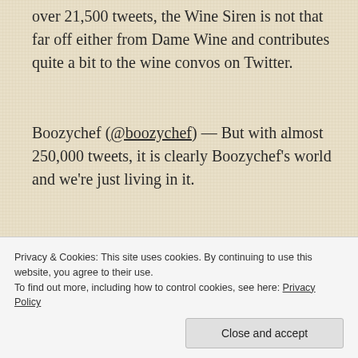over 21,500 tweets, the Wine Siren is not that far off either from Dame Wine and contributes quite a bit to the wine convos on Twitter.
Boozychef (@boozychef) — But with almost 250,000 tweets, it is clearly Boozychef's world and we're just living in it.
Kar
en
[Figure (photo): Partial photo of Christmas/holiday greenery decoration with lights and ornaments]
Nar
Privacy & Cookies: This site uses cookies. By continuing to use this website, you agree to their use. To find out more, including how to control cookies, see here: Privacy Policy